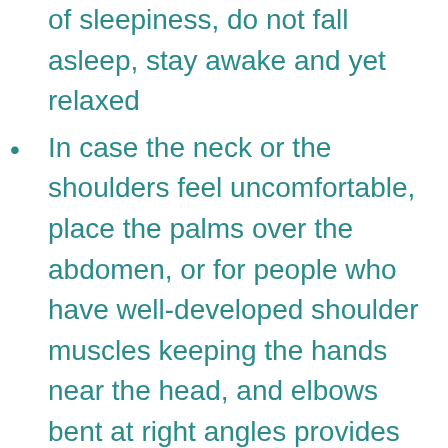of sleepiness, do not fall asleep, stay awake and yet relaxed
In case the neck or the shoulders feel uncomfortable, place the palms over the abdomen, or for people who have well-developed shoulder muscles keeping the hands near the head, and elbows bent at right angles provides the needed comfort for relaxation
In case the lower back is not feeling comfortable fold the knees and keep the feet near to the hips, now aided by the